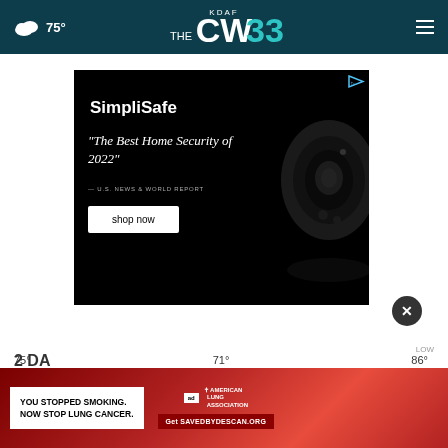75° KDAF CW33
[Figure (screenshot): SimpliSafe advertisement on black background with security camera. Text reads: SimpliSafe, "The Best Home Security of 2022" — U.S. NEWS & WORLD REPORT, shop now button. Play/ad indicator in top right corner.]
2 DAY
[Figure (screenshot): American Lung Association advertisement on red gradient background. Text reads: YOU STOPPED SMOKING. NOW STOP LUNG CANCER. Get SAVEDBYDESCAN.ORG. Ad indicator with American Lung Association logo.]
75°
71°
86°